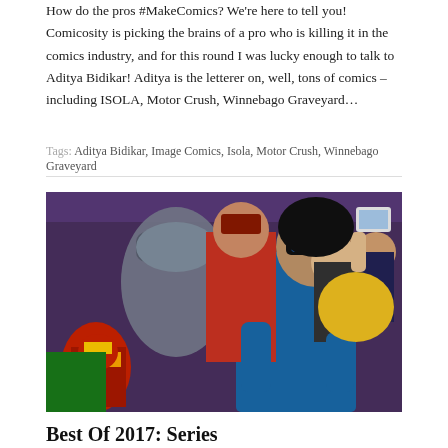How do the pros #MakeComics? We're here to tell you! Comicosity is picking the brains of a pro who is killing it in the comics industry, and for this round I was lucky enough to talk to Aditya Bidikar! Aditya is the letterer on, well, tons of comics – including ISOLA, Motor Crush, Winnebago Graveyard…
Tags: Aditya Bidikar, Image Comics, Isola, Motor Crush, Winnebago Graveyard
[Figure (photo): Comic book illustration showing multiple superhero characters including a figure in blue suit and mask taking a selfie, a figure in purple/grey coat, and Iron Man, set in a crowded scene.]
Best Of 2017: Series
Aaron Long - December 29, 2017 - Best of, Special Features